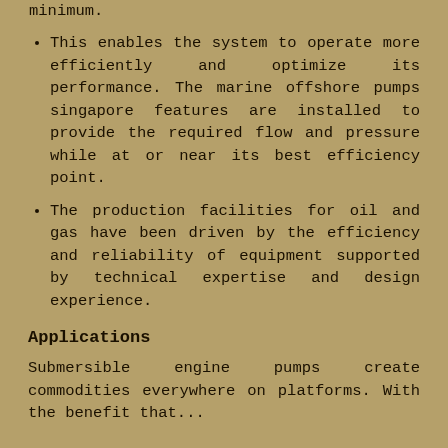minimum.
This enables the system to operate more efficiently and optimize its performance. The marine offshore pumps singapore features are installed to provide the required flow and pressure while at or near its best efficiency point.
The production facilities for oil and gas have been driven by the efficiency and reliability of equipment supported by technical expertise and design experience.
Applications
Submersible engine pumps create commodities everywhere on platforms. With the benefit that...